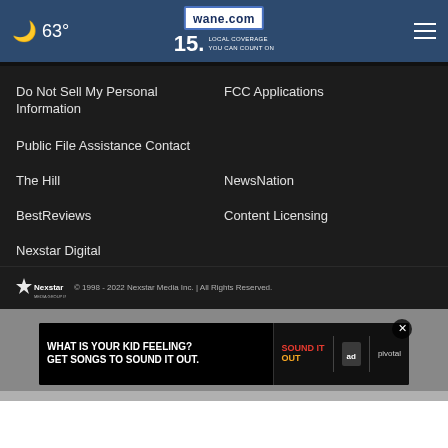63° — wane.com 15 LOCAL COVERAGE YOU CAN COUNT ON
Do Not Sell My Personal Information
FCC Applications
Public File Assistance Contact
The Hill
NewsNation
BestReviews
Content Licensing
Nexstar Digital
© 1998 - 2022 Nexstar Media Inc. | All Rights Reserved.
[Figure (screenshot): Advertisement banner: WHAT IS YOUR KID FEELING? GET SONGS TO SOUND IT OUT. with Sound It Out and Ad Council / Pivotal branding]